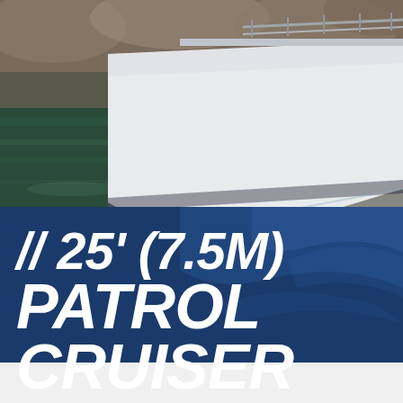[Figure (photo): Close-up photo of a white patrol boat hull near the waterline, with rocky shoreline in the background and dark green water visible. The boat has a white fiberglass hull and metal railing visible at the top.]
// 25' (7.5M) PATROL CRUISER